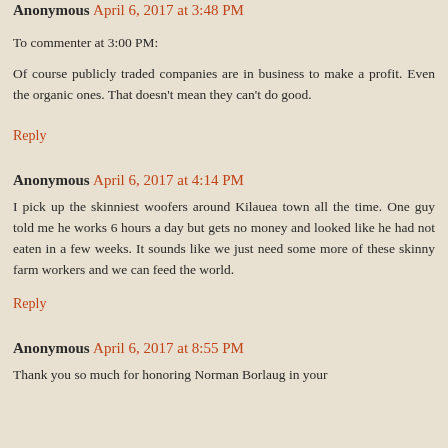Anonymous April 6, 2017 at 3:48 PM
To commenter at 3:00 PM:
Of course publicly traded companies are in business to make a profit. Even the organic ones. That doesn't mean they can't do good.
Reply
Anonymous April 6, 2017 at 4:14 PM
I pick up the skinniest woofers around Kilauea town all the time. One guy told me he works 6 hours a day but gets no money and looked like he had not eaten in a few weeks. It sounds like we just need some more of these skinny farm workers and we can feed the world.
Reply
Anonymous April 6, 2017 at 8:55 PM
Thank you so much for honoring Norman Borlaug in your